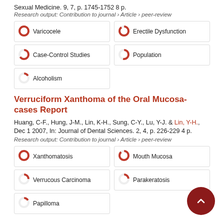Sexual Medicine. 9, 7, p. 1745-1752 8 p.
Research output: Contribution to journal › Article › peer-review
Varicocele
Erectile Dysfunction
Case-Control Studies
Population
Alcoholism
Verruciform Xanthoma of the Oral Mucosa-cases Report
Huang, C-F., Hung, J-M., Lin, K-H., Sung, C-Y., Lu, Y-J. & Lin, Y-H., Dec 1 2007, In: Journal of Dental Sciences. 2, 4, p. 226-229 4 p.
Research output: Contribution to journal › Article › peer-review
Xanthomatosis
Mouth Mucosa
Verrucous Carcinoma
Parakeratosis
Papilloma